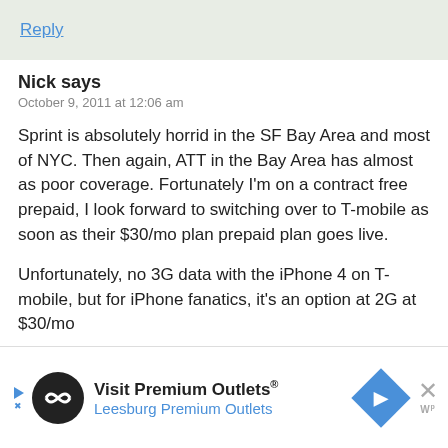Reply
Nick says
October 9, 2011 at 12:06 am
Sprint is absolutely horrid in the SF Bay Area and most of NYC. Then again, ATT in the Bay Area has almost as poor coverage. Fortunately I'm on a contract free prepaid, I look forward to switching over to T-mobile as soon as their $30/mo plan prepaid plan goes live.
Unfortunately, no 3G data with the iPhone 4 on T-mobile, but for iPhone fanatics, it's an option at 2G at $30/mo
[Figure (infographic): Advertisement banner: Visit Premium Outlets® Leesburg Premium Outlets with logo and navigation arrow icon]